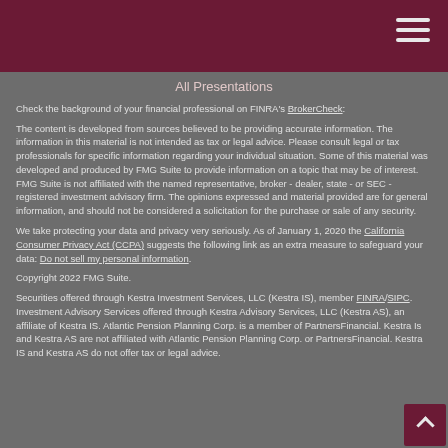All Presentations
Check the background of your financial professional on FINRA's BrokerCheck:
The content is developed from sources believed to be providing accurate information. The information in this material is not intended as tax or legal advice. Please consult legal or tax professionals for specific information regarding your individual situation. Some of this material was developed and produced by FMG Suite to provide information on a topic that may be of interest. FMG Suite is not affiliated with the named representative, broker - dealer, state - or SEC - registered investment advisory firm. The opinions expressed and material provided are for general information, and should not be considered a solicitation for the purchase or sale of any security.
We take protecting your data and privacy very seriously. As of January 1, 2020 the California Consumer Privacy Act (CCPA) suggests the following link as an extra measure to safeguard your data: Do not sell my personal information.
Copyright 2022 FMG Suite.
Securities offered through Kestra Investment Services, LLC (Kestra IS), member FINRA/SIPC. Investment Advisory Services offered through Kestra Advisory Services, LLC (Kestra AS), an affiliate of Kestra IS. Atlantic Pension Planning Corp. is a member of PartnersFinancial. Kestra Is and Kestra AS are not affiliated with Atlantic Pension Planning Corp. or PartnersFinancial. Kestra IS and Kestra AS do not offer tax or legal advice.